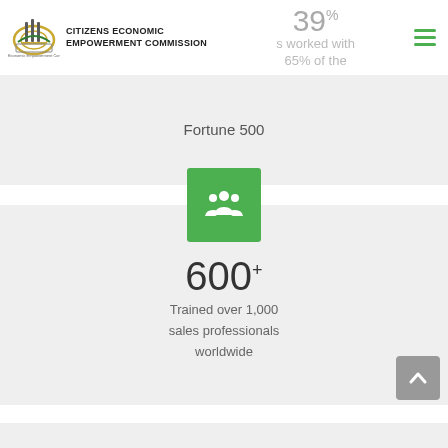CITIZENS ECONOMIC EMPOWERMENT COMMISSION
39% has worked with 65% of the Fortune 500
[Figure (infographic): Green square icon with white silhouettes of people (group/community icon)]
600+ Trained over 1,000 sales professionals worldwide